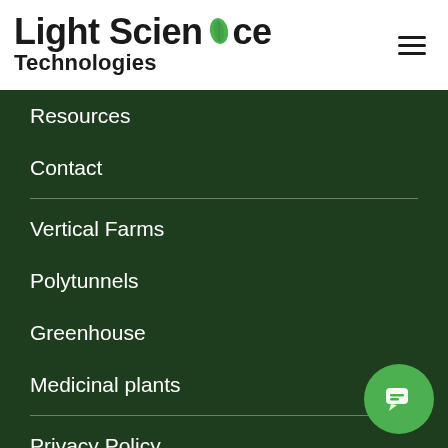[Figure (logo): Light Science Technologies logo with green leaf above the word 'Science', bold black text 'Light Science' on top line and 'Technologies' below]
[Figure (other): Hamburger menu icon (three horizontal lines) on the right side of the header]
Resources
Contact
Vertical Farms
Polytunnels
Greenhouse
Medicinal plants
Privacy Policy